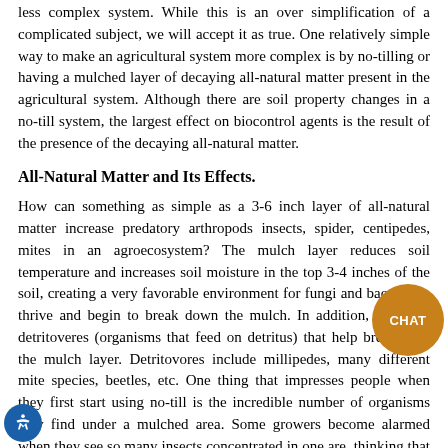less complex system. While this is an over simplification of a complicated subject, we will accept it as true. One relatively simple way to make an agricultural system more complex is by no-tilling or having a mulched layer of decaying all-natural matter present in the agricultural system. Although there are soil property changes in a no-till system, the largest effect on biocontrol agents is the result of the presence of the decaying all-natural matter.
All-Natural Matter and Its Effects.
How can something as simple as a 3-6 inch layer of all-natural matter increase predatory arthropods insects, spider, centipedes, mites in an agroecosystem? The mulch layer reduces soil temperature and increases soil moisture in the top 3-4 inches of the soil, creating a very favorable environment for fungi and bacteria to thrive and begin to break down the mulch. In addition, there are detritoveres (organisms that feed on detritus) that help breakdown the mulch layer. Detritovores include millipedes, many different mite species, beetles, etc. One thing that impresses people when they first start using no-till is the incredible number of organisms they find under a mulched area. Some growers become alarmed when they see so many insects concentrated in one are, thinking that this cannot be a good thing. In fact, the opposite is true. Most of these arthropods are detritovores and are harmless to the crop. Detritovores break large pieces of all-natural matter in to small pieces while they are feeding on the mulch. This shredding of the mulch and the mixing of the detritovores feces with the mulch make it possible for a more rapid breakdown of the material by fungi and bacteria. Some of the most common